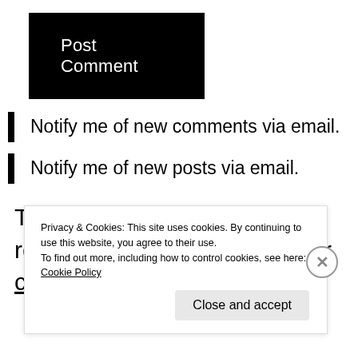[Figure (other): Black 'Post Comment' button]
Notify me of new comments via email.
Notify me of new posts via email.
This site uses Akismet to reduce spam. Learn how your comment data is processed.
Privacy & Cookies: This site uses cookies. By continuing to use this website, you agree to their use.
To find out more, including how to control cookies, see here: Cookie Policy
Close and accept